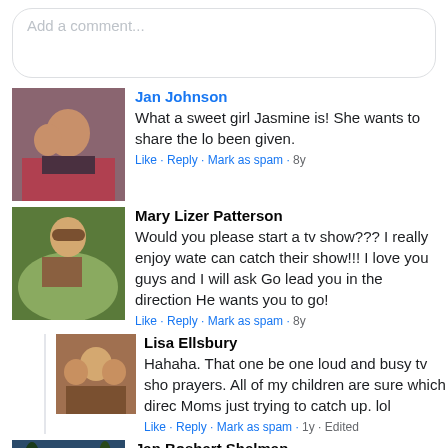Add a comment...
Jan Johnson
What a sweet girl Jasmine is! She wants to share the lo been given.
Like · Reply · Mark as spam · 8y
Mary Lizer Patterson
Would you please start a tv show??? I really enjoy wate can catch their show!!! I love you guys and I will ask Go lead you in the direction He wants you to go!
Like · Reply · Mark as spam · 8y
Lisa Ellsbury
Hahaha. That one be one loud and busy tv sho prayers. All of my children are sure which direc Moms just trying to catch up. lol
Like · Reply · Mark as spam · 1y · Edited
Jan Boshart Shelman
🙂 Lisa, You embody the scripture upon which Young H